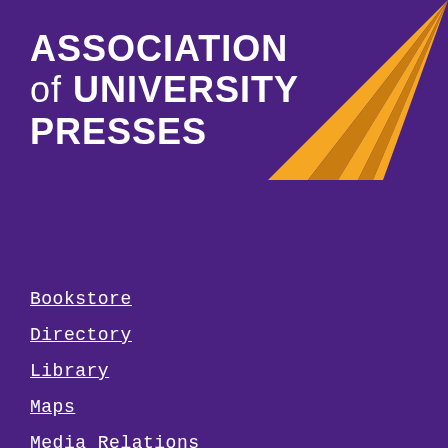[Figure (logo): Association of University Presses logo — orange/gold radiating fan/sunburst shape in the top-right corner on a purple background]
ASSOCIATION of UNIVERSITY PRESSES
Bookstore
Directory
Library
Maps
Media Relations
Parking
Shuttles
Student Complaint Procedure